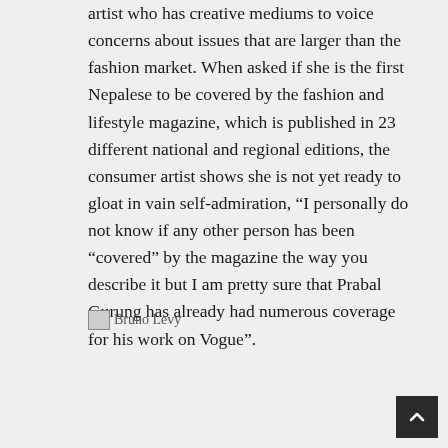artist who has creative mediums to voice concerns about issues that are larger than the fashion market. When asked if she is the first Nepalese to be covered by the fashion and lifestyle magazine, which is published in 23 different national and regional editions, the consumer artist shows she is not yet ready to gloat in vain self-admiration, “I personally do not know if any other person has been “covered” by the magazine the way you describe it but I am pretty sure that Prabal Gurung has already had numerous coverage for his work on Vogue”.
[Figure (photo): Broken image placeholder labeled 'Bruno Levy']